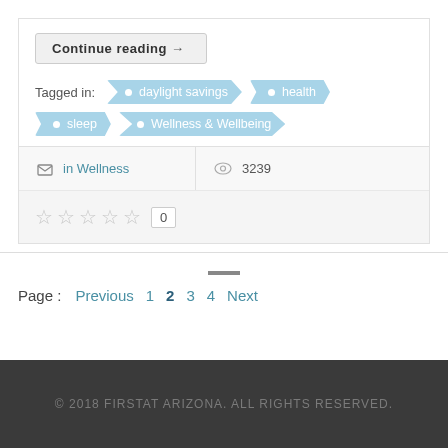Continue reading →
Tagged in: daylight savings  health  sleep  Wellness & Wellbeing
in Wellness   3239
★★★★★ 0
Page :  Previous  1  2  3  4  Next
© 2018 FIRSTAT ARIZONA. ALL RIGHTS RESERVED.